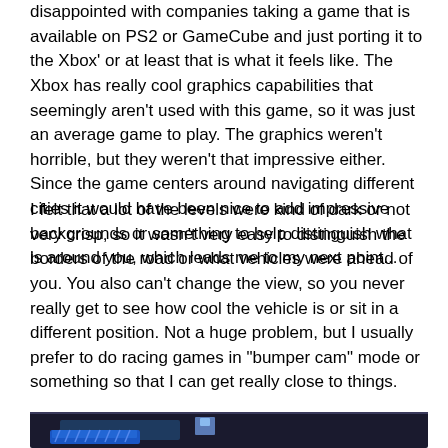disappointed with companies taking a game that is available on PS2 or GameCube and just porting it to the Xbox' or at least that is what it feels like. The Xbox has really cool graphics capabilities that seemingly aren't used with this game, so it was just an average game to play. The graphics weren't horrible, but they weren't that impressive either. Since the game centers around navigating different cities it would have been nice to add impressive backgrounds or something to help distinguish what is around you, which leads me to my next point...
I felt that a lot of the levels were kind of dark or not very crisp, so it wasn't very easy to distinguish the borders of the road or what vehicles were ahead of you. You also can't change the view, so you never really get to see how cool the vehicle is or sit in a different position. Not a huge problem, but I usually prefer to do racing games in "bumper cam" mode or something so that I can get really close to things.
[Figure (photo): Dark screenshot from a racing video game showing a vehicle on a dark road, partially visible at the bottom of the page.]